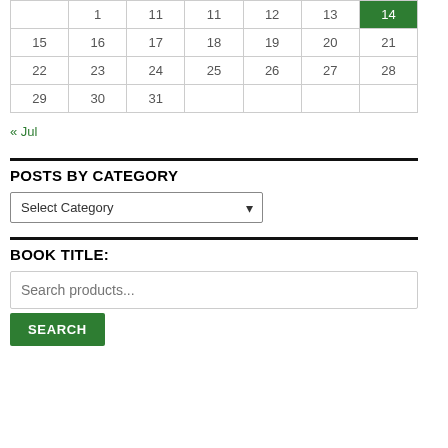|  | 1 | 11 | 11 | 12 | 13 | 14 |
| 15 | 16 | 17 | 18 | 19 | 20 | 21 |
| 22 | 23 | 24 | 25 | 26 | 27 | 28 |
| 29 | 30 | 31 |  |  |  |  |
« Jul
POSTS BY CATEGORY
Select Category
BOOK TITLE:
Search products...
SEARCH